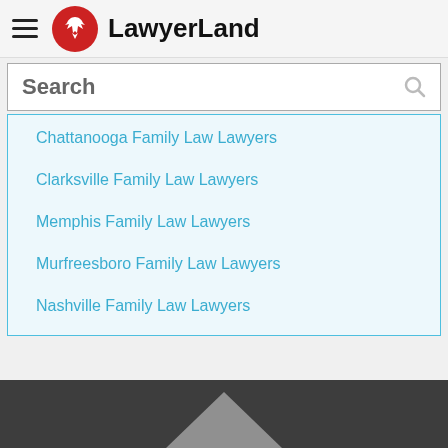LawyerLand
Search
Chattanooga Family Law Lawyers
Clarksville Family Law Lawyers
Memphis Family Law Lawyers
Murfreesboro Family Law Lawyers
Nashville Family Law Lawyers